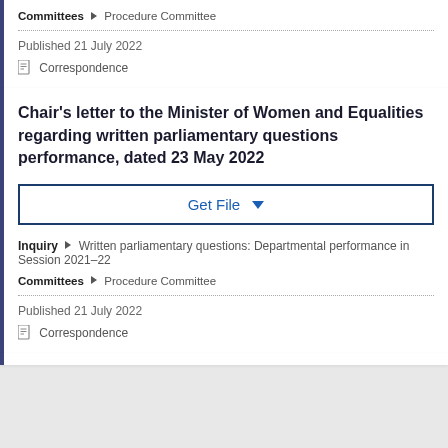Committees ▶ Procedure Committee
Published 21 July 2022
Correspondence
Chair's letter to the Minister of Women and Equalities regarding written parliamentary questions performance, dated 23 May 2022
Get File
Inquiry ▶ Written parliamentary questions: Departmental performance in Session 2021–22
Committees ▶ Procedure Committee
Published 21 July 2022
Correspondence